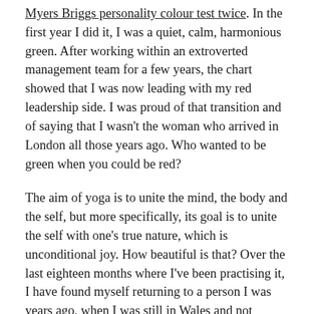Myers Briggs personality colour test twice. In the first year I did it, I was a quiet, calm, harmonious green. After working within an extroverted management team for a few years, the chart showed that I was now leading with my red leadership side. I was proud of that transition and of saying that I wasn't the woman who arrived in London all those years ago. Who wanted to be green when you could be red?
The aim of yoga is to unite the mind, the body and the self, but more specifically, its goal is to unite the self with one's true nature, which is unconditional joy. How beautiful is that? Over the last eighteen months where I've been practising it, I have found myself returning to a person I was years ago, when I was still in Wales and not working in London. In a previous blog post about giving up alcohol nearly five months ago, I refer to feeling like I've had a